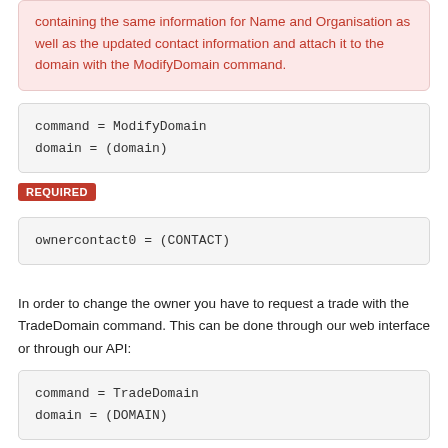containing the same information for Name and Organisation as well as the updated contact information and attach it to the domain with the ModifyDomain command.
REQUIRED
In order to change the owner you have to request a trade with the TradeDomain command. This can be done through our web interface or through our API:
REQUIRED